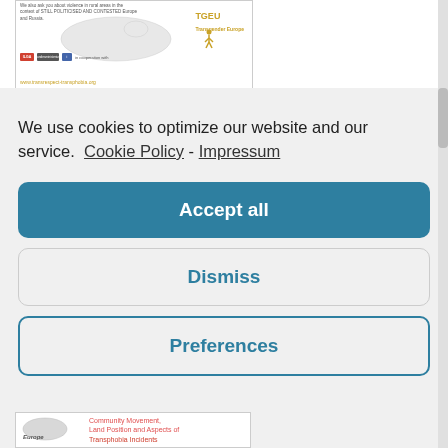[Figure (screenshot): Partial screenshot of a document page with TGEU logo and map of Australia]
We use cookies to optimize our website and our service.  Cookie Policy  -  Impressum
Accept all
Dismiss
Preferences
[Figure (screenshot): Partial screenshot showing Europe map and text about Community Movement, Land Position and Aspects of Transphobia Incidents]